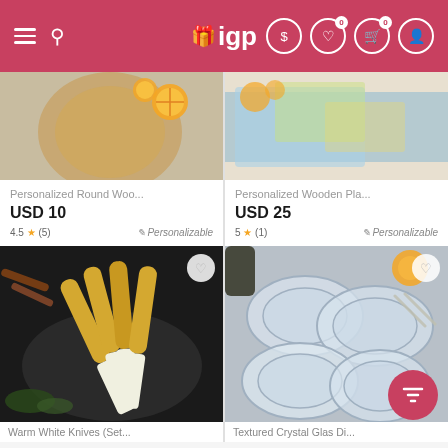IGP shopping app header with navigation icons
[Figure (screenshot): Product image of Personalized Round Woo... - wooden cutting board with orange slices]
Personalized Round Woo...
USD 10
4.5 ★ (5)  Personalizable
[Figure (screenshot): Product image of Personalized Wooden Pla... - decorative wooden placemat with fabric]
Personalized Wooden Pla...
USD 25
5 ★ (1)  Personalizable
[Figure (screenshot): Product image of Warm White Knives (Set... - gold and white knives on dark plate]
Warm White Knives (Set...
[Figure (screenshot): Product image of Textured Crystal Glas Di... - clear glass dishes on gray surface]
Textured Crystal Glas Di...